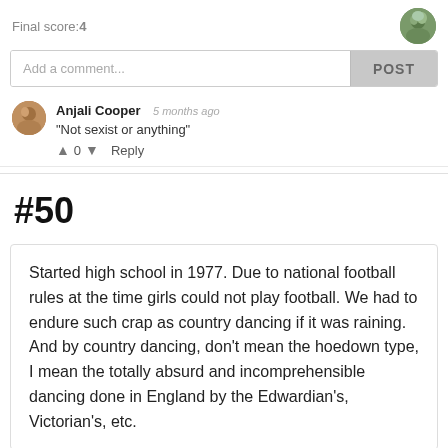Final score:4
Add a comment...
POST
Anjali Cooper  5 months ago
"Not sexist or anything"
↑ 0 ↓  Reply
#50
Started high school in 1977. Due to national football rules at the time girls could not play football. We had to endure such crap as country dancing if it was raining. And by country dancing, don't mean the hoedown type, I mean the totally absurd and incomprehensible dancing done in England by the Edwardian's, Victorian's, etc.